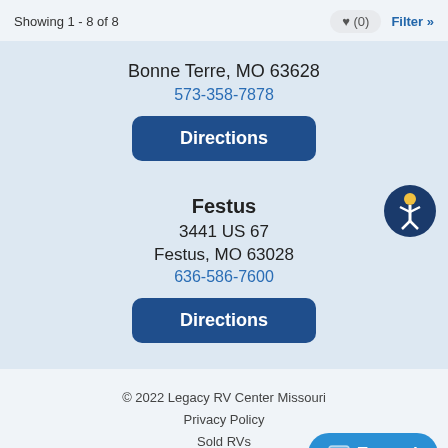Showing 1 - 8 of 8
Bonne Terre, MO 63628
573-358-7878
Directions
Festus
3441 US 67
Festus, MO 63028
636-586-7600
Directions
© 2022 Legacy RV Center Missouri
Privacy Policy
Sold RVs
RV Dealer Website Design